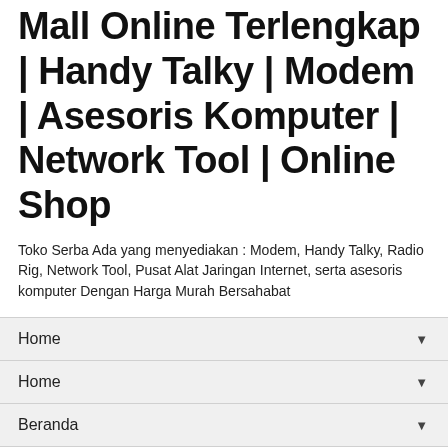Mall Online Terlengkap | Handy Talky | Modem | Asesoris Komputer | Network Tool | Online Shop
Toko Serba Ada yang menyediakan : Modem, Handy Talky, Radio Rig, Network Tool, Pusat Alat Jaringan Internet, serta asesoris komputer Dengan Harga Murah Bersahabat
Home
Home
Beranda
Sunday, 16 September 2018
Engenius EAP350
[Figure (illustration): Product image box with a red snowflake/gear icon in the lower right corner]